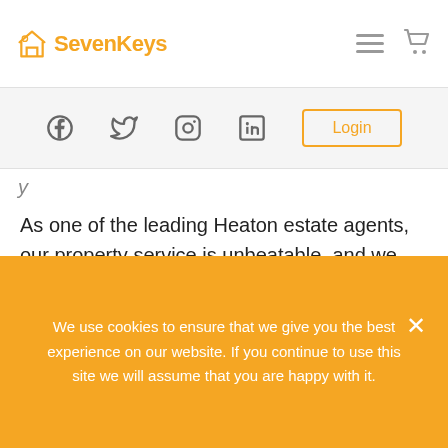SevenKeys
[Figure (logo): SevenKeys logo with house icon and orange text]
As one of the leading Heaton estate agents, our property service is unbeatable, and we understand the importance of satisfying your needs and expectations. You can call us today and discuss your property for sale or buying requirements with a trained member of staff. You can also visit us in the office for a face to face chat.
We use cookies to ensure that we give you the best experience on our website. If you continue to use this site we will assume that you are happy with it.